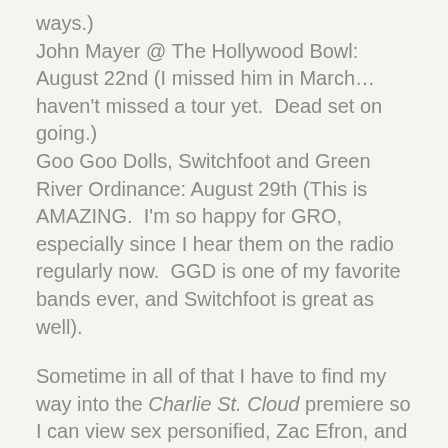ways.) John Mayer @ The Hollywood Bowl: August 22nd (I missed him in March… haven't missed a tour yet.  Dead set on going.) Goo Goo Dolls, Switchfoot and Green River Ordinance: August 29th (This is AMAZING.  I'm so happy for GRO, especially since I hear them on the radio regularly now.  GGD is one of my favorite bands ever, and Switchfoot is great as well).
Sometime in all of that I have to find my way into the Charlie St. Cloud premiere so I can view sex personified, Zac Efron, and see the movie before everyone else.  And, whenever the Jazz play the Lakers, I have got to get some great seats for that.